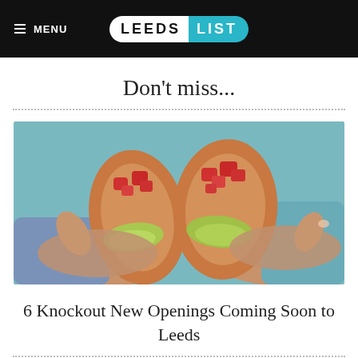≡ MENU | LEEDS LIST
Don't miss...
[Figure (photo): Two hands holding crispy fried chicken-style taco shells filled with shredded lettuce and diced tomatoes, against a light blue background.]
6 Knockout New Openings Coming Soon to Leeds